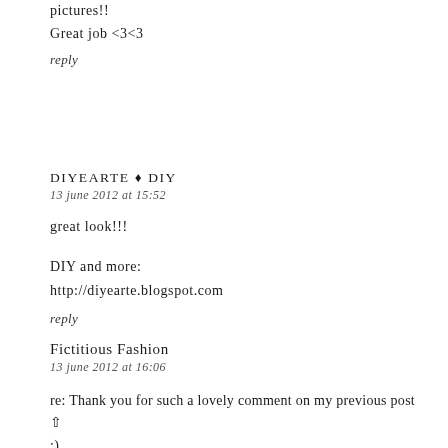pictures!!
Great job <3<3
reply
DIYEARTE ♦ DIY
13 june 2012 at 15:52
great look!!!
DIY and more:
http://diyearte.blogspot.com
reply
Fictitious Fashion
13 june 2012 at 16:06
re: Thank you for such a lovely comment on my previous post :)